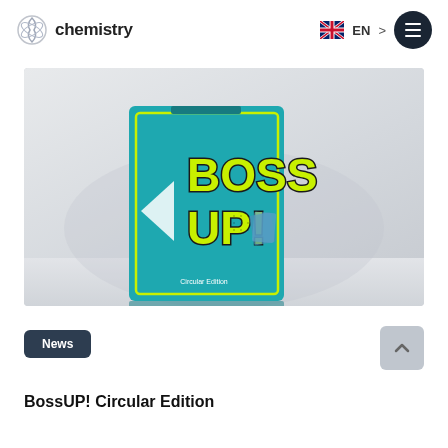chemistry  EN
[Figure (photo): A teal card game box labeled 'BOSS UP!' Circular Edition with yellow bold text, sitting on a light surface against a blurred background.]
News
BossUP! Circular Edition